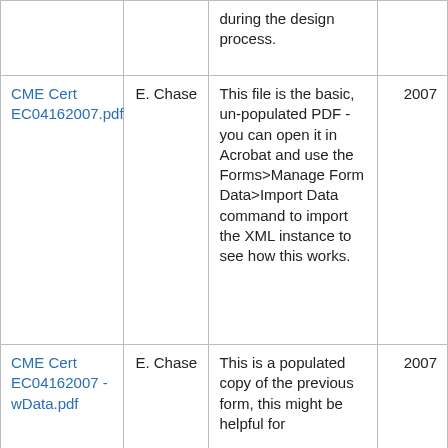| File | Author | Description | Year |
| --- | --- | --- | --- |
|  |  | during the design process. |  |
| CME Cert EC04162007.pdf | E. Chase | This file is the basic, un-populated PDF - you can open it in Acrobat and use the Forms>Manage Form Data>Import Data command to import the XML instance to see how this works. | 2007 |
| CME Cert EC04162007 - wData.pdf | E. Chase | This is a populated copy of the previous form, this might be helpful for | 2007 |